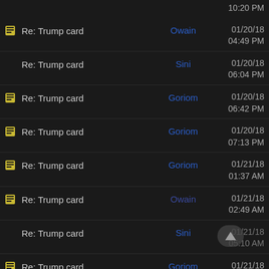10:20 PM
Re: Trump card | Owain | 01/20/18 04:49 PM
Re: Trump card | Sini | 01/20/18 06:04 PM
Re: Trump card | Goriom | 01/20/18 06:42 PM
Re: Trump card | Goriom | 01/20/18 07:13 PM
Re: Trump card | Goriom | 01/21/18 01:37 AM
Re: Trump card | Owain | 01/21/18 02:49 AM
Re: Trump card | Sini | 01/21/18 05:10 AM
Re: Trump card | Goriom | 01/21/18